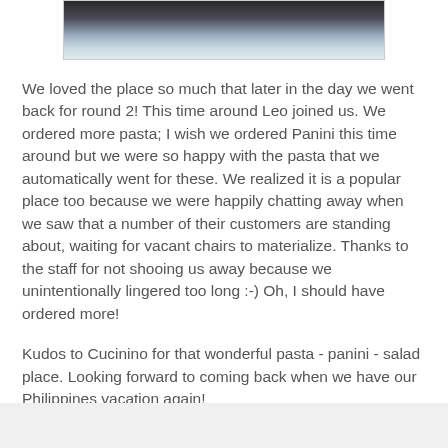[Figure (photo): Partial photo visible at top of page showing what appears to be food or a plate, dark tones with light reflections]
We loved the place so much that later in the day we went back for round 2!  This time around Leo joined us.  We ordered more pasta; I wish we ordered Panini this time around but we were so happy with the pasta that we automatically went for these.  We realized it is a popular place too because we were happily chatting away when we saw that a number of their customers are standing about, waiting for vacant chairs to materialize.  Thanks to the staff for not shooing us away  because we unintentionally lingered too long :-)  Oh, I should have ordered more!
Kudos to Cucinino for that wonderful pasta - panini - salad place. Looking forward to coming back when we have our Philippines vacation again!
Technorati tags: recipe